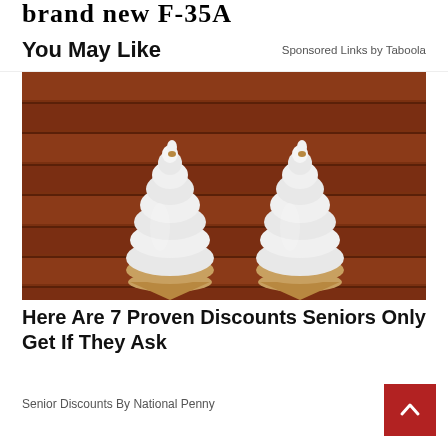brand new F-35A
You May Like
Sponsored Links by Taboola
[Figure (photo): Two white soft-serve ice cream cones in waffle cones against a warm brown wooden background]
Here Are 7 Proven Discounts Seniors Only Get If They Ask
Senior Discounts By National Penny